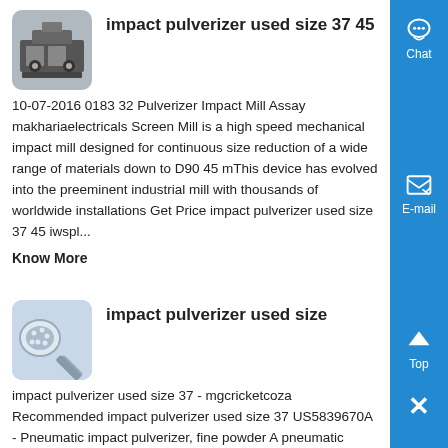impact pulverizer used size 37 45
10-07-2016 0183 32 Pulverizer Impact Mill Assay makhariaelectricals Screen Mill is a high speed mechanical impact mill designed for continuous size reduction of a wide range of materials down to D90 45 mThis device has evolved into the preeminent industrial mill with thousands of worldwide installations Get Price impact pulverizer used size 37 45 iwspl...
Know More
impact pulverizer used size
impact pulverizer used size 37 - mgcricketcoza Recommended impact pulverizer used size 37 US5839670A - Pneumatic impact pulverizer, fine powder A pneumatic pulverizer comprises an accelerating tube for carrying and accelerating powder to be pulverized with high-pressure gas and a pulverizing ,...
Know More